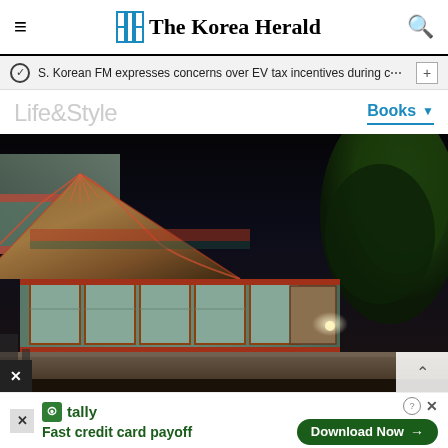The Korea Herald
S. Korean FM expresses concerns over EV tax incentives during c…
Life&Style
Books
[Figure (photo): Night photograph of a traditional Korean Buddhist temple building with ornate colored eaves (dancheong decorations), illuminated against a dark sky, with pine trees visible to the right.]
tally Fast credit card payoff Download Now →